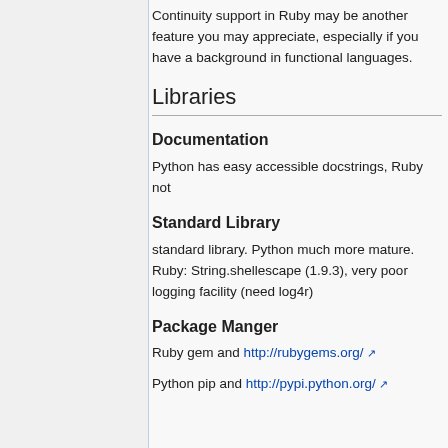Continuity support in Ruby may be another feature you may appreciate, especially if you have a background in functional languages.
Libraries
Documentation
Python has easy accessible docstrings, Ruby not
Standard Library
standard library. Python much more mature. Ruby: String.shellescape (1.9.3), very poor logging facility (need log4r)
Package Manger
Ruby gem and http://rubygems.org/
Python pip and http://pypi.python.org/